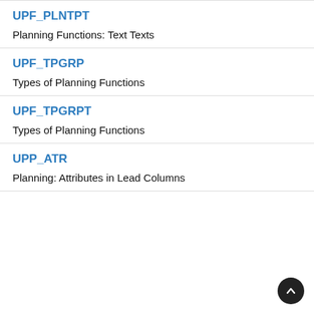UPF_PLNTPT
Planning Functions: Text Texts
UPF_TPGRP
Types of Planning Functions
UPF_TPGRPT
Types of Planning Functions
UPP_ATR
Planning: Attributes in Lead Columns